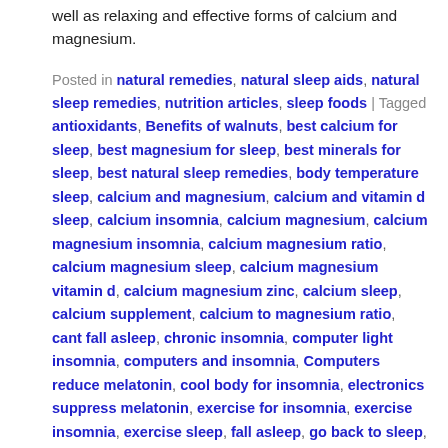well as relaxing and effective forms of calcium and magnesium.
Posted in natural remedies, natural sleep aids, natural sleep remedies, nutrition articles, sleep foods | Tagged antioxidants, Benefits of walnuts, best calcium for sleep, best magnesium for sleep, best minerals for sleep, best natural sleep remedies, body temperature sleep, calcium and magnesium, calcium and vitamin d sleep, calcium insomnia, calcium magnesium, calcium magnesium insomnia, calcium magnesium ratio, calcium magnesium sleep, calcium magnesium vitamin d, calcium magnesium zinc, calcium sleep, calcium supplement, calcium to magnesium ratio, cant fall asleep, chronic insomnia, computer light insomnia, computers and insomnia, Computers reduce melatonin, cool body for insomnia, electronics suppress melatonin, exercise for insomnia, exercise insomnia, exercise sleep, fall asleep, go back to sleep, health benefits of walnuts, highest antioxidants, insomnia help, insomnia menopause, insomnia menopause magnesium, insomnia remedies, joint relief, joint remedy, joints and more, light suppresses melatonin, magnesium calcium ratio, magnesium citrate, magnesium deficiency insomnia, magnesium insomnia, magnesium sleep, menopause calcium, menopause insomnia,